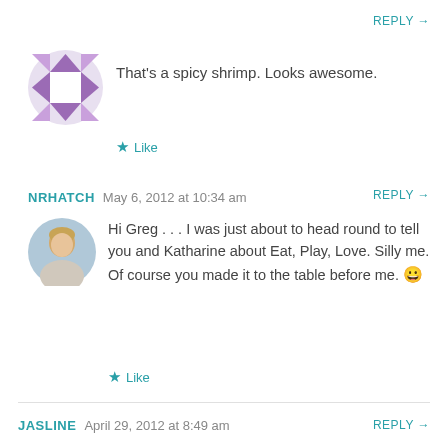REPLY →
[Figure (illustration): Purple geometric quilt-pattern avatar icon (square with triangular shapes around border)]
That's a spicy shrimp. Looks awesome.
★ Like
NRHATCH   May 6, 2012 at 10:34 am
REPLY →
[Figure (photo): Circular avatar photo of a woman with light hair]
Hi Greg . . . I was just about to head round to tell you and Katharine about Eat, Play, Love. Silly me. Of course you made it to the table before me. 😀
★ Like
JASLINE   April 29, 2012 at 8:49 am
REPLY →